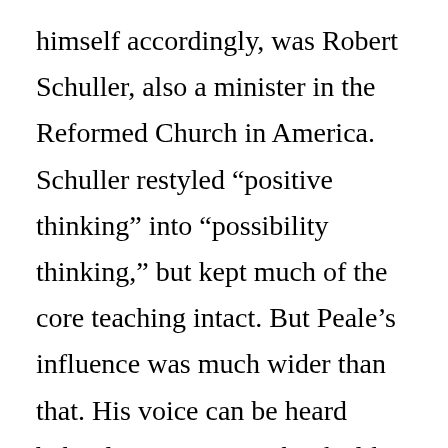himself accordingly, was Robert Schuller, also a minister in the Reformed Church in America. Schuller restyled “positive thinking” into “possibility thinking,” but kept much of the core teaching intact. But Peale’s influence was much wider than that. His voice can be heard behind contemporary books like The Secret, which advocates the law of attraction, another way of speaking and believing reality into existence. His voice can be heard behind the Oprah Winfrey’s, Joel Osteen’s, T.D. Jakes’, and Tony Robbin’s